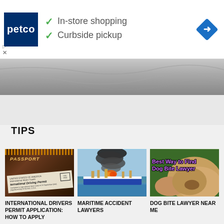[Figure (screenshot): Petco advertisement banner with logo, checkmarks for In-store shopping and Curbside pickup, and a blue navigation diamond icon]
[Figure (photo): Crumpled metallic/silver background image strip with chevron-up button]
TIPS
[Figure (photo): Passport and International Driving Permit documents on dark background]
INTERNATIONAL DRIVERS PERMIT APPLICATION: HOW TO APPLY
[Figure (photo): Ship on fire with black smoke billowing from it on ocean water]
MARITIME ACCIDENT LAWYERS
[Figure (photo): Dog biting person's hand with overlay text: Best Way to Find Dog Bite Lawyer]
DOG BITE LAWYER NEAR ME